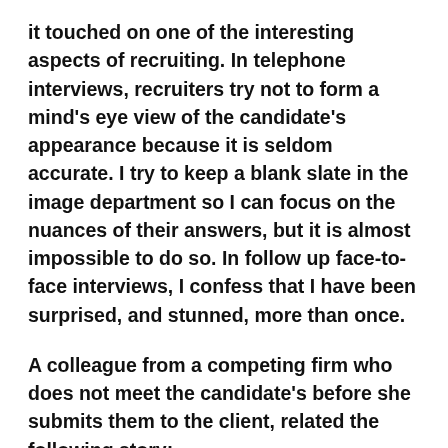it touched on one of the interesting aspects of recruiting.  In telephone interviews, recruiters try not to form a mind's eye view of the candidate's appearance because it is seldom accurate.  I try to keep a blank slate in the image department so I can focus on the nuances of their answers, but it is almost impossible to do so.  In follow up face-to-face interviews, I confess that I have been surprised, and stunned, more than once.
A colleague from a competing firm who does not meet the candidate's before she submits them to the client, related the following story:
She was interviewing a CFO candidate for a 170-bed public hospital.  The candidate's answers, from time to time, were a bit quirky, but clearly he